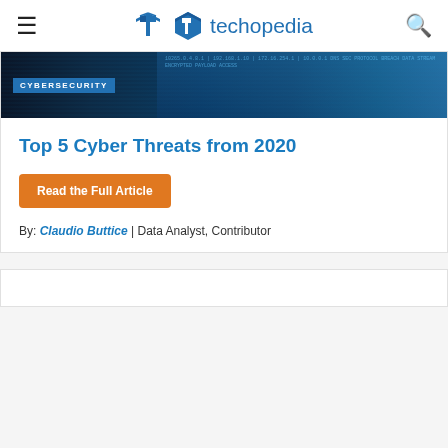techopedia
[Figure (screenshot): Cybersecurity dark blue banner image with code/text overlay and 'CYBERSECURITY' label]
Top 5 Cyber Threats from 2020
Read the Full Article
By: Claudio Buttice | Data Analyst, Contributor